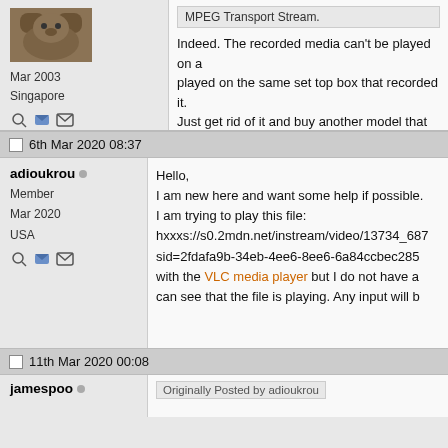[Figure (screenshot): Forum post section: user avatar (bear/animal image), joined Mar 2003, Singapore, with icons. Post content partially visible: 'MPEG Transport Stream.' and 'Indeed. The recorded media can't be played on ... played on the same set top box that recorded it. Just get rid of it and buy another model that doe... of shit!' with angry emoji.]
Mar 2003
Singapore
MPEG Transport Stream.

Indeed. The recorded media can't be played on a played on the same set top box that recorded it. Just get rid of it and buy another model that doe... of shit!
6th Mar 2020 08:37
adioukrou
Member
Mar 2020
USA
Hello,
I am new here and want some help if possible.
I am trying to play this file:
hxxxs://s0.2mdn.net/instream/video/13734_687
sid=2fdafa9b-34eb-4ee6-8ee6-6a84ccbec285
with the VLC media player but I do not have a... can see that the file is playing. Any input will b...
11th Mar 2020 00:08
jamespoo
Originally Posted by adioukrou